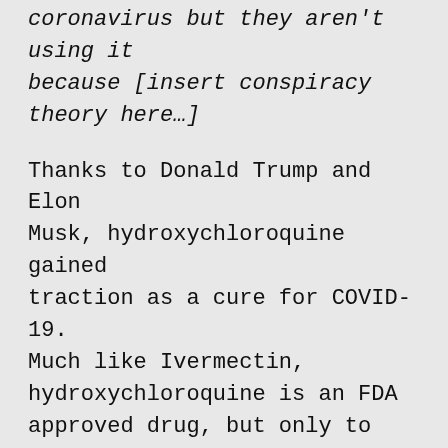coronavirus but they aren't using it because [insert conspiracy theory here…]
Thanks to Donald Trump and Elon Musk, hydroxychloroquine gained traction as a cure for COVID-19. Much like Ivermectin, hydroxychloroquine is an FDA approved drug, but only to treat a range of ailments including Arthritis and Lupus and it's also used to prevent Malaria, but there are countless studies proving that it is not an effective treatment